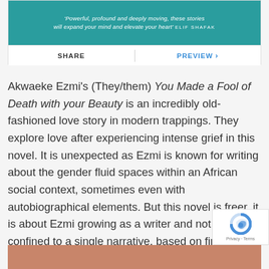[Figure (screenshot): Teal banner with quote text: 'Powerful, profound and deeply moving, these stories will expand your mind and elevate your heart' ELIF SHAFAK]
SHARE   |   PREVIEW ›
Akwaeke Ezmi's (They/them) You Made a Fool of Death with your Beauty is an incredibly old-fashioned love story in modern trappings. They explore love after experiencing intense grief in this novel. It is unexpected as Ezmi is known for writing about the gender fluid spaces within an African social context, sometimes even with autobiographical elements. But this novel is freer, it is about Ezmi growing as a writer and not being confined to a single narrative, based on firsthand experience. ( Faber Books )
[Figure (photo): Partial image visible at bottom of page with warm/skin tones]